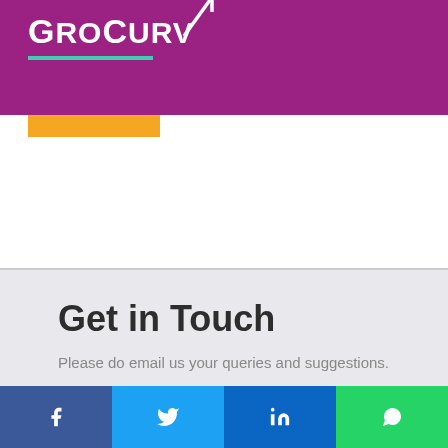GroCurv
Get in Touch
Please do email us your queries and suggestions.
contact@grocurv.com
Blog | Sitemap | Privacy Policy | FAQs
[Figure (other): Social media sharing bar with Facebook, Twitter, LinkedIn, and WhatsApp icons]